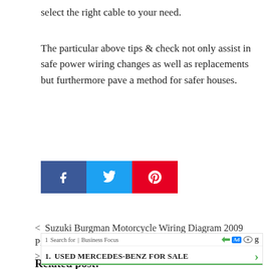select the right cable to your need.
The particular above tips & check not only assist in safe power wiring changes as well as replacements but furthermore pave a method for safer houses.
[Figure (other): Social share buttons: Facebook (blue), Twitter (light blue), Pinterest (red) with respective icons]
< Suzuki Burgman Motorcycle Wiring Diagram 2009 Pics
> 1 [Ad overlay: USED MERCEDES-BENZ FOR SALE] Diag...
Related post: